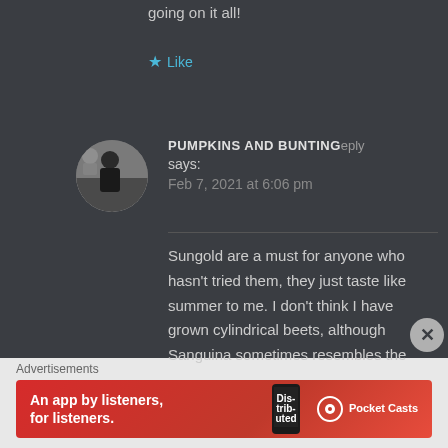going on it all!
★ Like
[Figure (photo): Circular avatar photo of user Pumpkins and Bunting showing a person outdoors]
PUMPKINS AND BUNTING says: Feb 7, 2021 at 6:06 pm
Sungold are a must for anyone who hasn't tried them, they just taste like summer to me. I don't think I have grown cylindrical beets, although Sanguina sometimes resembles the
Advertisements
[Figure (screenshot): Red advertisement banner for Pocket Casts app: An app by listeners, for listeners.]